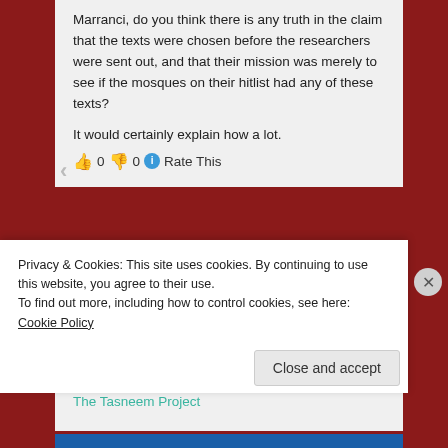Marranci, do you think there is any truth in the claim that the texts were chosen before the researchers were sent out, and that their mission was merely to see if the mosques on their hitlist had any of these texts?

It would certainly explain how a lot.
👍 0 👎 0 ℹ Rate This
Pingback: Policy Exchange Report: Links « The Tasneem Project
William
December 12, 2007 at 3:22 pm
Privacy & Cookies: This site uses cookies. By continuing to use this website, you agree to their use.
To find out more, including how to control cookies, see here: Cookie Policy
Close and accept